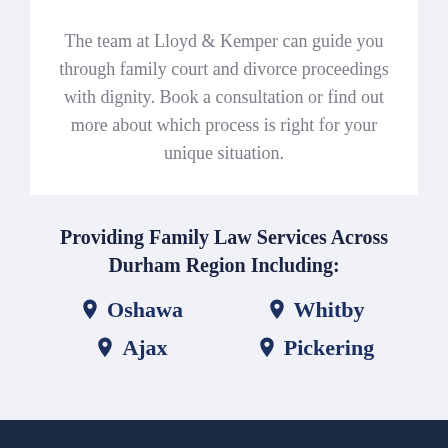The team at Lloyd & Kemper can guide you through family court and divorce proceedings with dignity. Book a consultation or find out more about which process is right for your unique situation.
Providing Family Law Services Across Durham Region Including:
Oshawa
Whitby
Ajax
Pickering